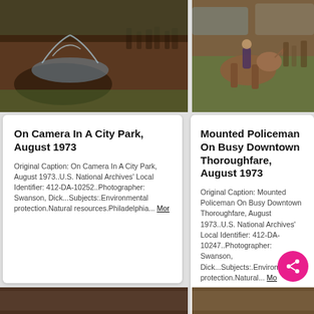[Figure (photo): Vintage color photo of a water fountain spray in a city park, people visible in background, August 1973]
[Figure (photo): Vintage color photo of a mounted policeman on a horse on a busy downtown thoroughfare, pedestrians and cars visible, August 1973]
On Camera In A City Park, August 1973
Original Caption: On Camera In A City Park, August 1973..U.S. National Archives' Local Identifier: 412-DA-10252..Photographer: Swanson, Dick...Subjects:.Environmental protection.Natural resources.Philadelphia... Mor
Mounted Policeman On Busy Downtown Thoroughfare, August 1973
Original Caption: Mounted Policeman On Busy Downtown Thoroughfare, August 1973..U.S. National Archives' Local Identifier: 412-DA-10247..Photographer: Swanson, Dick...Subjects:.Environmental protection.Natural... Mo
[Figure (photo): Partial view of bottom-left vintage photo strip]
[Figure (photo): Partial view of bottom-right vintage photo strip]